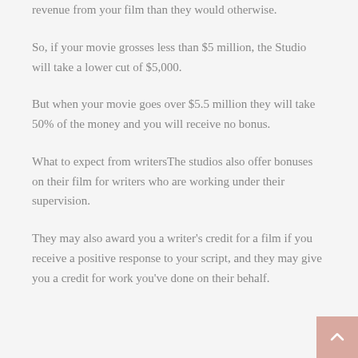revenue from your film than they would otherwise.
So, if your movie grosses less than $5 million, the Studio will take a lower cut of $5,000.
But when your movie goes over $5.5 million they will take 50% of the money and you will receive no bonus.
What to expect from writersThe studios also offer bonuses on their film for writers who are working under their supervision.
They may also award you a writer's credit for a film if you receive a positive response to your script, and they may give you a credit for work you've done on their behalf.